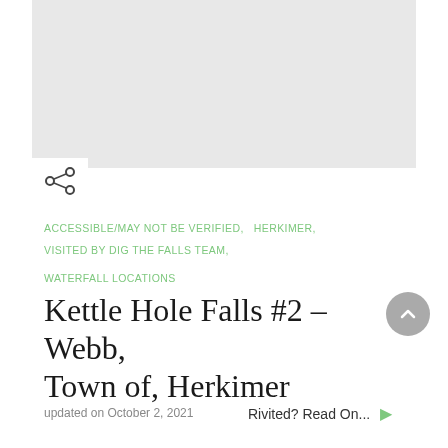[Figure (photo): Gray placeholder image area at top of page]
[Figure (other): Share icon (three connected circles) in white box overlapping bottom-left of image]
ACCESSIBLE/MAY NOT BE VERIFIED,   HERKIMER,
VISITED BY DIG THE FALLS TEAM,
WATERFALL LOCATIONS
Kettle Hole Falls #2 – Webb, Town of, Herkimer
updated on October 2, 2021
Rivited? Read On...